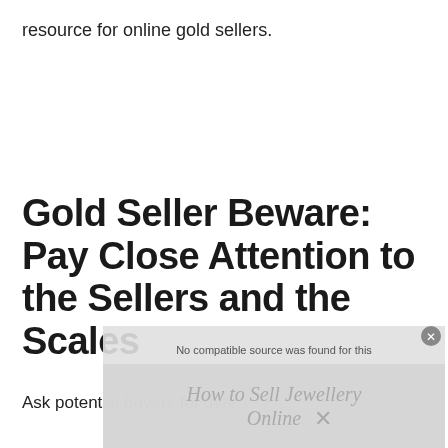resource for online gold sellers.
Gold Seller Beware: Pay Close Attention to the Sellers and the Scales
Ask potential buyers for their
[Figure (screenshot): Video player overlay showing 'No compatible source was found for this' message with a watermark text 'How to Sell Jewellery Online' and an X close button]